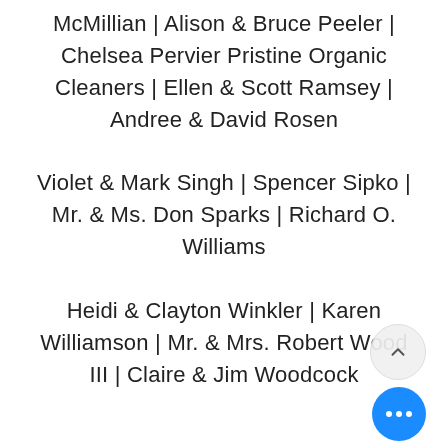McMillian | Alison & Bruce Peeler | Chelsea Pervier Pristine Organic Cleaners | Ellen & Scott Ramsey | Andree & David Rosen Violet & Mark Singh | Spencer Sipko | Mr. & Ms. Don Sparks | Richard O. Williams Heidi & Clayton Winkler | Karen Williamson | Mr. & Mrs. Robert Wood III | Claire & Jim Woodcock